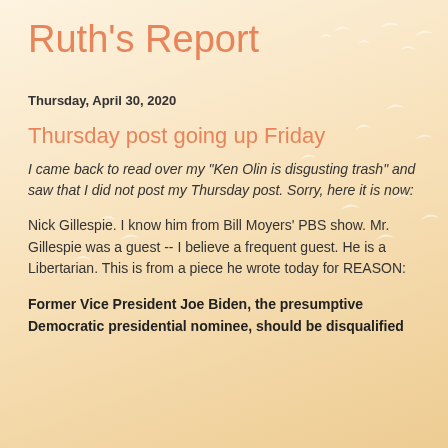Ruth's Report
Thursday, April 30, 2020
Thursday post going up Friday
I came back to read over my "Ken Olin is disgusting trash" and saw that I did not post my Thursday post.  Sorry, here it is now:
Nick Gillespie.  I know him from Bill Moyers' PBS show.  Mr. Gillespie was a guest -- I believe a frequent guest.  He is a Libertarian.  This is from a piece he wrote today for REASON:
Former Vice President Joe Biden, the presumptive Democratic presidential nominee, should be disqualified